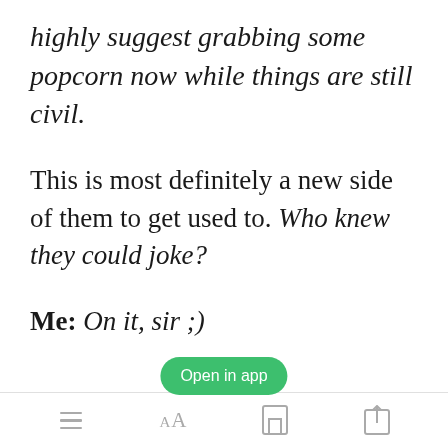highly suggest grabbing some popcorn now while things are still civil.
This is most definitely a new side of them to get used to. Who knew they could joke?
Me: On it, sir ;)
Smiling to myself. I place my phone